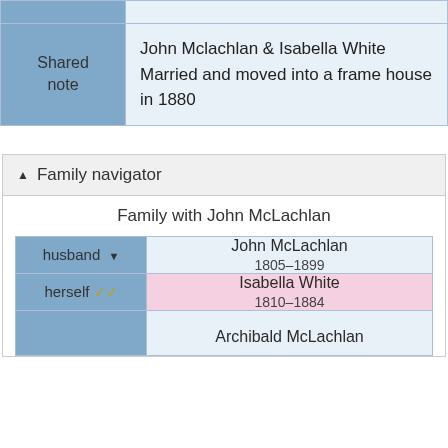|  |  |
| --- | --- |
|  |  |
| Shared note | John Mclachlan & Isabella White
Married and moved into a frame house in 1880 |
Family navigator
| Role | Person |
| --- | --- |
| husband | John McLachlan
1805–1899 |
| herself | Isabella White
1810–1884 |
|  | Archibald McLachlan |